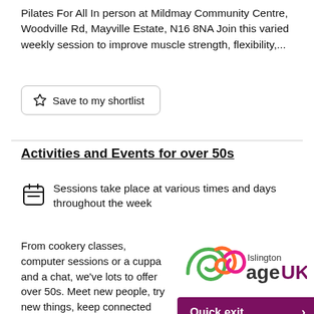Pilates For All In person at Mildmay Community Centre, Woodville Rd, Mayville Estate, N16 8NA Join this varied weekly session to improve muscle strength, flexibility,...
Save to my shortlist
Activities and Events for over 50s
Sessions take place at various times and days throughout the week
From cookery classes, computer sessions or a cuppa and a chat, we've lots to offer over 50s. Meet new people, try new things, keep connected and improve the quality
[Figure (logo): Islington Age UK logo with colourful swirl and text]
Quick exit >